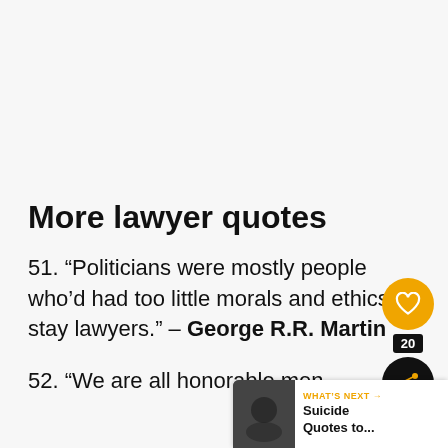More lawyer quotes
51. “Politicians were mostly people who’d had too little morals and ethics to stay lawyers.” – George R.R. Martin
52. “We are all honorable men